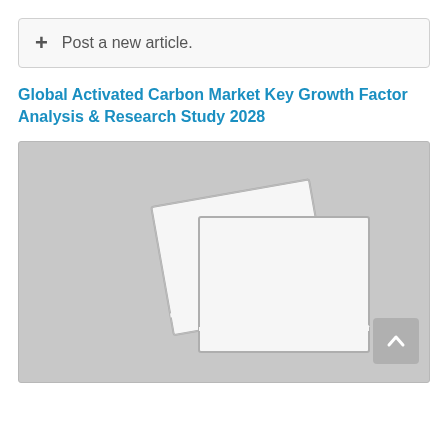+ Post a new article.
Global Activated Carbon Market Key Growth Factor Analysis & Research Study 2028
[Figure (illustration): Gray image placeholder with a stacked photo/image icon in the center showing two overlapping image frames with a sun and mountain landscape icon. A scroll-to-top button is visible in the bottom-right corner.]